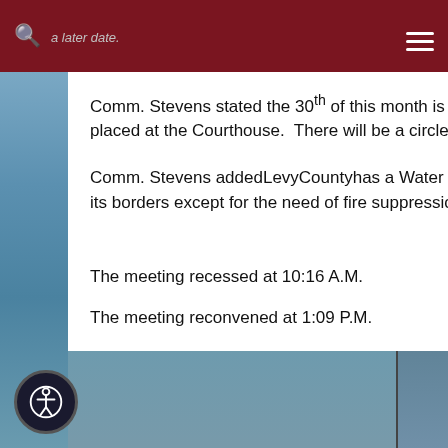a later date.
Comm. Stevens stated the 30th of this month is the one year anniversary of having the Ten Commandments placed at the Courthouse.  There will be a circle prayer at 3:00 P.M. on that day.
Comm. Stevens addedLevyCountyhas a Water Resolution in place to prevent water from this county leaving its borders except for the need of fire suppression.
The meeting recessed at 10:16 A.M.
The meeting reconvened at 1:09 P.M.